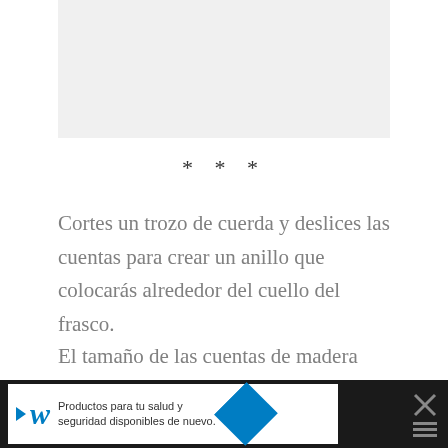[Figure (photo): Light gray rectangular image placeholder area at the top of the page]
* * *
Cortes un trozo de cuerda y deslices las cuentas para crear un anillo que colocarás alrededor del cuello del frasco.
El tamaño de las cuentas de madera dependerá de la dimensión del frasco. Mi
[Figure (screenshot): Advertisement banner: Walgreens ad - Productos para tu salud y seguridad disponibles de nuevo.]